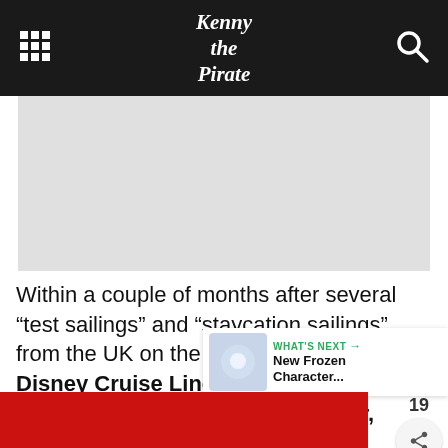Kenny the Pirate
[Figure (photo): Gray placeholder image area for article photo]
Within a couple of months after several “test sailings” and “staycation sailings” from the UK on the Disney Magic, Disney Cruise Line was back to sailing on the high seas. However, cruising would look and feel a bit different than before in more ways than one!
[Figure (photo): Red branded image at bottom of page, partially visible]